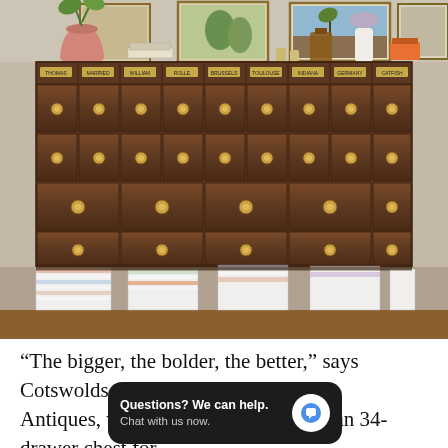[Figure (photo): A large Victorian-style wooden apothecary chest with approximately 9 columns and 4-5 rows of drawers, each labeled with gold tags. The top of the cabinet holds various decorative items including a pink vase with a plant, framed paintings, bottles, and books. Below the cabinet are multiple stacks of magazines on a wooden floor.]
“The bigger, the bolder, the better,” says Cotswolds dealer Siobhan [obscured] Antiques, who currently has a Victorian 34-drawer chest for